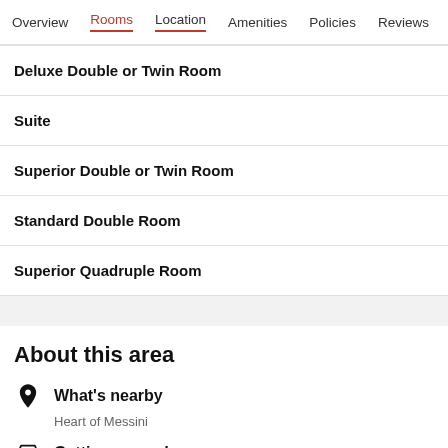Overview  Rooms  Location  Amenities  Policies  Reviews
Deluxe Double or Twin Room
Suite
Superior Double or Twin Room
Standard Double Room
Superior Quadruple Room
About this area
What's nearby
Heart of Messini
Getting around